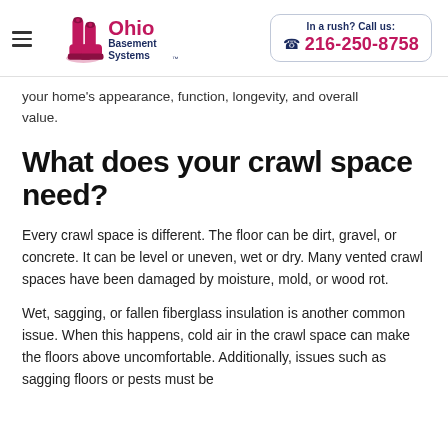Ohio Basement Systems | In a rush? Call us: 216-250-8758
your home's appearance, function, longevity, and overall value.
What does your crawl space need?
Every crawl space is different. The floor can be dirt, gravel, or concrete. It can be level or uneven, wet or dry. Many vented crawl spaces have been damaged by moisture, mold, or wood rot.
Wet, sagging, or fallen fiberglass insulation is another common issue. When this happens, cold air in the crawl space can make the floors above uncomfortable. Additionally, issues such as sagging floors or pests must be